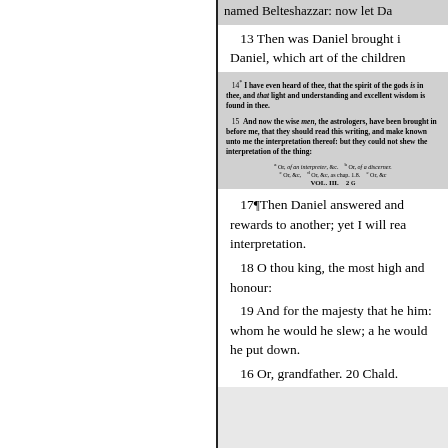named Belteshazzar: now let Da
13 Then was Daniel brought i Daniel, which art of the children
14* I have even heard of thee, that the spirit of the gods is in thee, and that light and understanding and excellent wisdom is found in thee.
15 And now the wise men, the astrologers, have been brought in before me, that they should read this writing, and make known unto me the interpretation thereof: but they could not shew the interpretation of the thing:
a Or, of an interpreter, &c.  b Or, of a discerner.  c Or, &c,  d Or, &c, as chap. 1.8.  e Or, &c  VOL. III.  2 G
17¶Then Daniel answered and rewards to another; yet I will rea interpretation.
18 O thou king, the most high and honour:
19 And for the majesty that he him: whom he would he slew; a he would he put down.
16 Or, grandfather. 20 Chald.